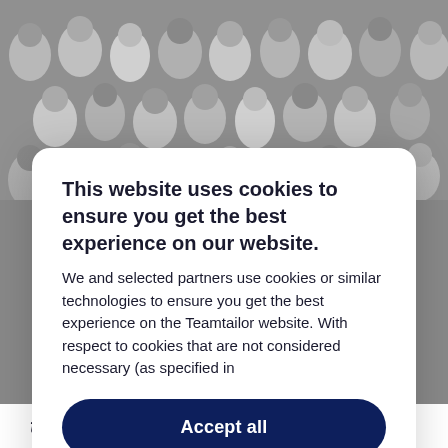[Figure (photo): Grayscale aerial/overhead group photo of many people looking up at the camera, smiling and waving.]
This website uses cookies to ensure you get the best experience on our website. We and selected partners use cookies or similar technologies to ensure you get the best experience on the Teamtailor website. With respect to cookies that are not considered necessary (as specified in
Accept all
Disable all
Cookie preferences
the superiore ambition of saving the